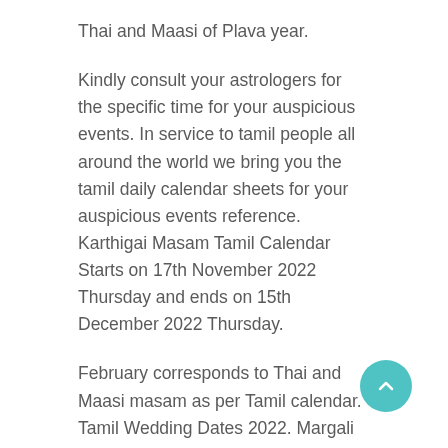Thai and Maasi of Plava year.
Kindly consult your astrologers for the specific time for your auspicious events. In service to tamil people all around the world we bring you the tamil daily calendar sheets for your auspicious events reference. Karthigai Masam Tamil Calendar Starts on 17th November 2022 Thursday and ends on 15th December 2022 Thursday.
February corresponds to Thai and Maasi masam as per Tamil calendar. Tamil Wedding Dates 2022. Margali Month Tamil Calendar Starts on 16th December 2022 Friday and ends on 14th January 2023 Saturday.
You can find the complete daily sheet of September 2022. Tamil calendar daily sheet...